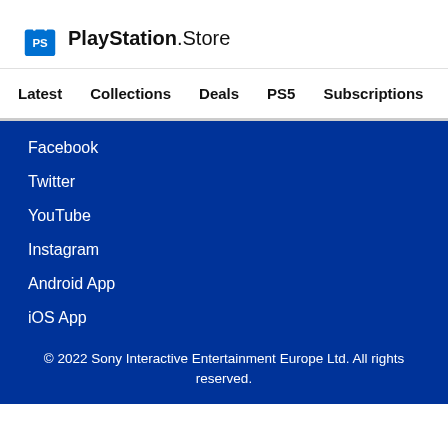[Figure (logo): PlayStation Store logo with blue shopping bag icon and text 'PlayStation.Store']
Latest   Collections   Deals   PS5   Subscriptions >
Facebook
Twitter
YouTube
Instagram
Android App
iOS App
© 2022 Sony Interactive Entertainment Europe Ltd. All rights reserved.